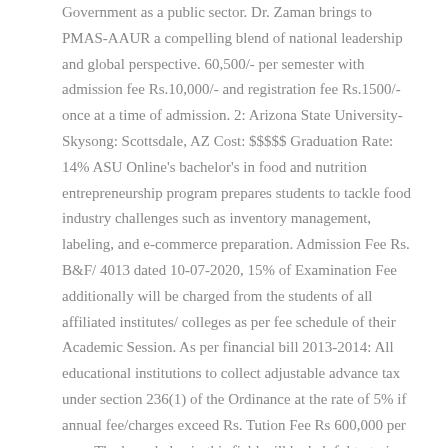Government as a public sector. Dr. Zaman brings to PMAS-AAUR a compelling blend of national leadership and global perspective. 60,500/- per semester with admission fee Rs.10,000/- and registration fee Rs.1500/- once at a time of admission. 2: Arizona State University-Skysong: Scottsdale, AZ Cost: $$$$$ Graduation Rate: 14% ASU Online's bachelor's in food and nutrition entrepreneurship program prepares students to tackle food industry challenges such as inventory management, labeling, and e-commerce preparation. Admission Fee Rs. B&F/ 4013 dated 10-07-2020, 15% of Examination Fee additionally will be charged from the students of all affiliated institutes/ colleges as per fee schedule of their Academic Session. As per financial bill 2013-2014: All educational institutions to collect adjustable advance tax under section 236(1) of the Ordinance at the rate of 5% if annual fee/charges exceed Rs. Tution Fee Rs 600,000 per year. The knowledge in this field will be helpful to train manpower in the area of nutritional sciences to apply it in order to promote health of … MUL was founded in 1986 by Shaykh-ul-Islam Prof. Dr M. Tahir-ul-Qadri, patron-in-chief of Minhaj ul Quran International. The fee structure of B.S. Phone: (042) 3539 9170-4 Ext: